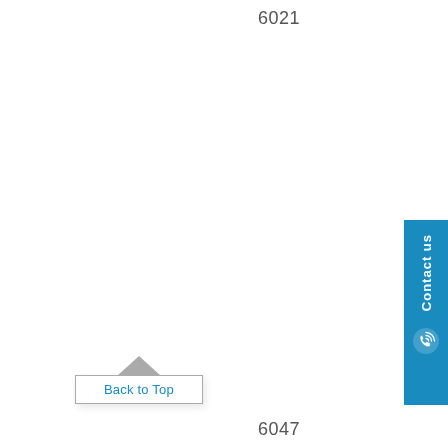6021
[Figure (other): Blue vertical Contact us sidebar with phone icon on the right edge of the page]
Back to Top
6047